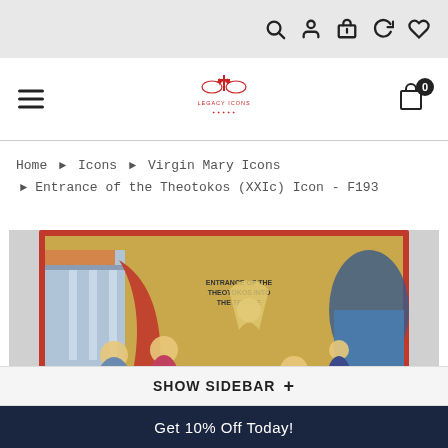Legacy Icons website header with search, account, gift, history, and wishlist icons
[Figure (logo): Legacy Icons logo with red ornate cross and eagle design]
Home ▸ Icons ▸ Virgin Mary Icons ▸ Entrance of the Theotokos (XXIc) Icon - F193
[Figure (photo): Orthodox icon showing the Entrance of the Theotokos into the Temple, featuring figures with halos, an angel, an elderly priest, and the young Virgin Mary on steps of a temple, gold background, framed in red]
SHOW SIDEBAR +
Get 10% Off Today!